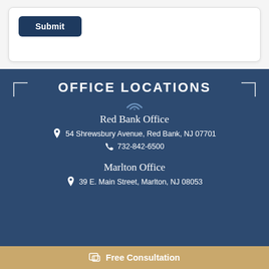[Figure (screenshot): White form card with a dark navy Submit button in the upper left]
OFFICE LOCATIONS
Red Bank Office
54 Shrewsbury Avenue, Red Bank, NJ 07701
732-842-6500
Marlton Office
39 E. Main Street, Marlton, NJ 08053
Free Consultation